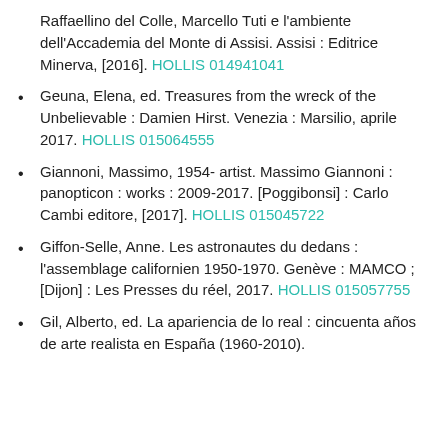Raffaellino del Colle, Marcello Tuti e l'ambiente dell'Accademia del Monte di Assisi. Assisi : Editrice Minerva, [2016]. HOLLIS 014941041
Geuna, Elena, ed. Treasures from the wreck of the Unbelievable : Damien Hirst. Venezia : Marsilio, aprile 2017. HOLLIS 015064555
Giannoni, Massimo, 1954- artist. Massimo Giannoni : panopticon : works : 2009-2017. [Poggibonsi] : Carlo Cambi editore, [2017]. HOLLIS 015045722
Giffon-Selle, Anne. Les astronautes du dedans : l'assemblage californien 1950-1970. Genève : MAMCO ; [Dijon] : Les Presses du réel, 2017. HOLLIS 015057755
Gil, Alberto, ed. La apariencia de lo real : cincuenta años de arte realista en España (1960-2010).